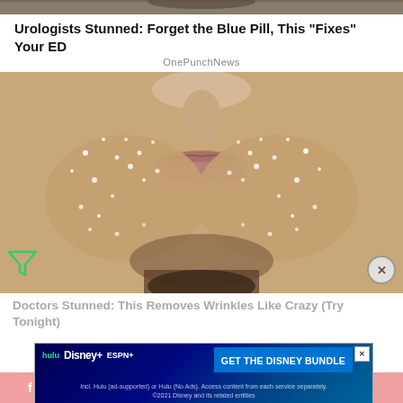[Figure (photo): Partial top strip of a person wearing dark glasses/hat, cropped]
Urologists Stunned: Forget the Blue Pill, This "Fixes" Your ED
OnePunchNews
[Figure (photo): Close-up photo of a person's lower face covered in salt/sugar crystals, lips visible, skin texture prominent]
Doctors Stunned: This Removes Wrinkles Like Crazy (Try Tonight)
[Figure (infographic): Disney Bundle advertisement showing Hulu, Disney+, ESPN+ logos with text GET THE DISNEY BUNDLE and fine print about subscription terms]